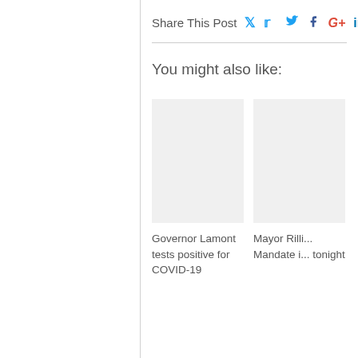Share This Post
You might also like:
Governor Lamont tests positive for COVID-19
Mayor Rilli... Mandate i... tonight